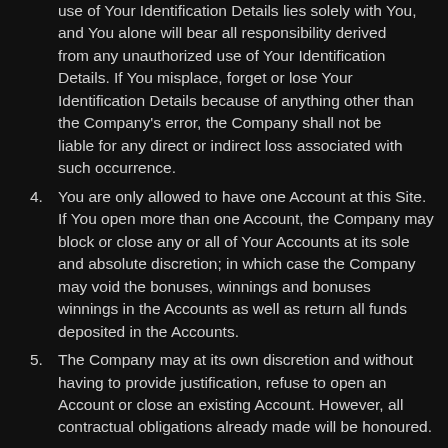use of Your Identification Details lies solely with You, and You alone will bear all responsibility derived from any unauthorized use of Your Identification Details. If You misplace, forget or lose Your Identification Details because of anything other than the Company's error, the Company shall not be liable for any direct or indirect loss associated with such occurrence.
4. You are only allowed to have one Account at this Site. If You open more than one Account, the Company may block or close any or all of Your Accounts at its sole and absolute discretion; in which case the Company may void the bonuses, winnings and bonuses winnings in the Accounts as well as return all funds deposited in the Accounts.
5. The Company may at its own discretion and without having to provide justification, refuse to open an Account or close an existing Account. However, all contractual obligations already made will be honoured.
6. You hereby represent that the registration of Your Account is done personally by You and not by any third party.
7. By opening an Account, You hereby represent, warrant, acknowledge and undertake that (a) the details You submit